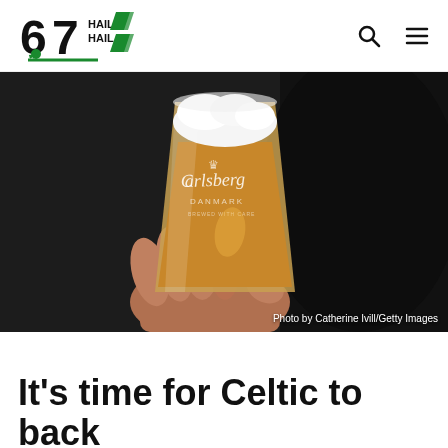67 Hail Hail — logo with navigation icons
[Figure (photo): A hand holding a clear plastic Carlsberg beer cup filled with amber beer and a white foam top, against a dark background.]
Photo by Catherine Ivill/Getty Images
It's time for Celtic to back